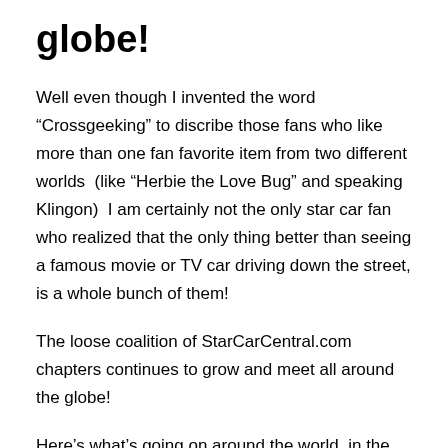globe!
Well even though I invented the word “Crossgeeking” to discribe those fans who like more than one fan favorite item from two different worlds  (like “Herbie the Love Bug” and speaking Klingon)  I am certainly not the only star car fan who realized that the only thing better than seeing a famous movie or TV car driving down the street, is a whole bunch of them!
The loose coalition of StarCarCentral.com chapters continues to grow and meet all around the globe!
Here’s what’s going on around the world, in the world of StarCar get togethers, that is!
AUSTRALIA!